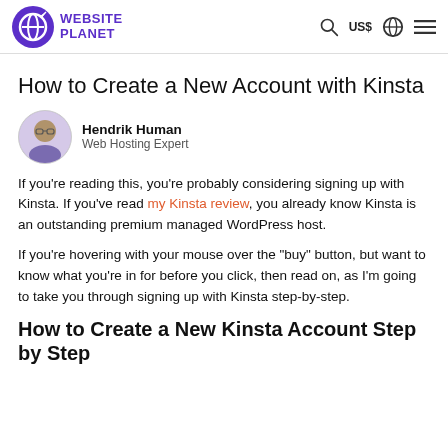WEBSITE PLANET  US$
How to Create a New Account with Kinsta
Hendrik Human
Web Hosting Expert
If you’re reading this, you’re probably considering signing up with Kinsta. If you’ve read my Kinsta review, you already know Kinsta is an outstanding premium managed WordPress host.
If you’re hovering with your mouse over the “buy” button, but want to know what you’re in for before you click, then read on, as I’m going to take you through signing up with Kinsta step-by-step.
How to Create a New Kinsta Account Step by Step